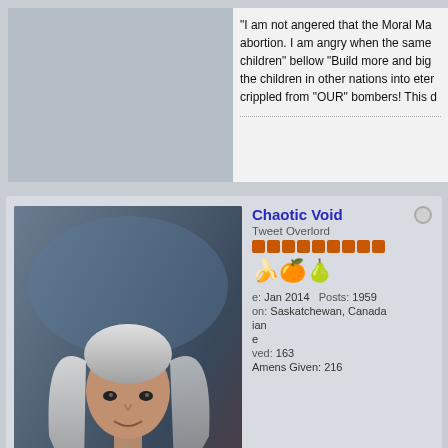"I am not angered that the Moral Ma... abortion. I am angry when the same... children" bellow "Build more and big... the children in other nations into eter... crippled from "OUR" bombers! This d...
Chaotic Void
Tweet Overlord
Join Date: Jan 2014   Posts: 1959
Location: Saskatchewan, Canada
Amen Received: 163
Amens Given: 216
06-27-2015, 04:44 PM
Originally posted by KingsGa...
That's true. I guess the way I... criticism from all quarters alre... piling on any more.